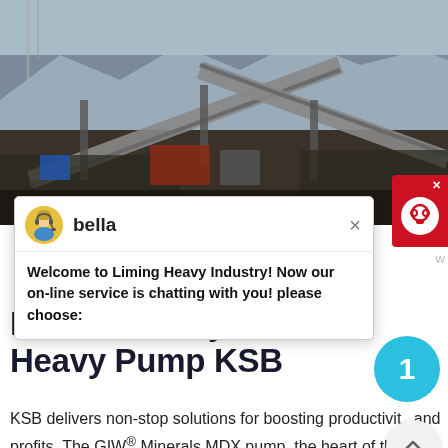[Figure (photo): Aerial view of a large industrial mining or crushing facility with conveyor belts and heavy machinery against a desert mountain backdrop]
[Figure (screenshot): Chat popup from 'bella' saying 'Welcome to Liming Heavy Industry! Now our on-line service is chatting with you! please choose:']
MDX Mill Duty Xtra Heavy Pump KSB
KSB delivers non-stop solutions for boosting productivity and profits. The GIW® Minerals MDX pump, the heart of the mill circuit, tackles the most extreme duty conditions. The features of the MDX pump combine to create a head/quantity and efficiency curve critical for efficient mill...